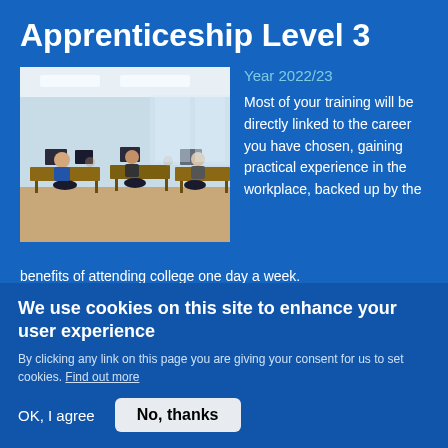Apprenticeship Level 3
Year 2022/23
[Figure (photo): Office open-plan workspace with people working at desks with computers, bright lighting from windows]
Most of your training will be directly linked to the career you have chosen, gaining practical experience in the workplace, backed up by the benefits of attending college one day a week.
As an apprentice, you will gain valuable experience in a
We use cookies on this site to enhance your user experience
By clicking any link on this page you are giving your consent for us to set cookies. Find out more
OK, I agree
No, thanks